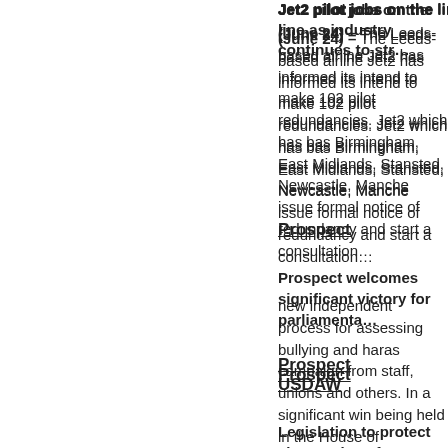Jet2 pilot jobs on the line as industry continues to str...
(June 24) – The Leeds-based airline Jet2 has informed its intend to make 102 pilot redundancies. Jet2 which has bas Birmingham, East Midlands, Stansted, Newcastle, Manche issue formal notice of redundancy and start a consultation...
Prospect
Prospect welcomes significant victory for parliamenta...
new independent process for assessing bullying and haras campaign from staff, unions and others. In a significant win being held in the House of Commons, after worries had be abusers and discourage victims from coming forward read...
USDAW
Legislation to protect shopworkers from violence and...
(June) – Shopworkers trade union Usdaw and convenience Government inertia on first anniversary of the closure of th...